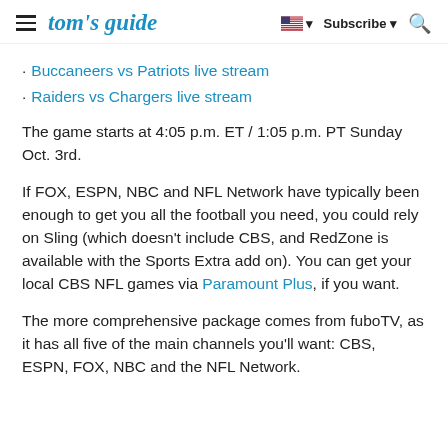tom's guide  Subscribe
Buccaneers vs Patriots live stream
Raiders vs Chargers live stream
The game starts at 4:05 p.m. ET / 1:05 p.m. PT Sunday Oct. 3rd.
If FOX, ESPN, NBC and NFL Network have typically been enough to get you all the football you need, you could rely on Sling (which doesn't include CBS, and RedZone is available with the Sports Extra add on). You can get your local CBS NFL games via Paramount Plus, if you want.
The more comprehensive package comes from fuboTV, as it has all five of the main channels you'll want: CBS, ESPN, FOX, NBC and the NFL Network.